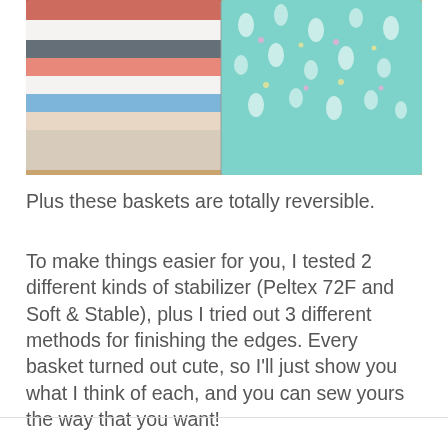[Figure (photo): Two fabric storage baskets on a wooden floor. One basket has a colorful striped/patterned fabric and the other is a teal/mint color with a unicorn print pattern.]
Plus these baskets are totally reversible.
To make things easier for you, I tested 2 different kinds of stabilizer (Peltex 72F and Soft & Stable), plus I tried out 3 different methods for finishing the edges. Every basket turned out cute, so I’ll just show you what I think of each, and you can sew yours the way that you want!